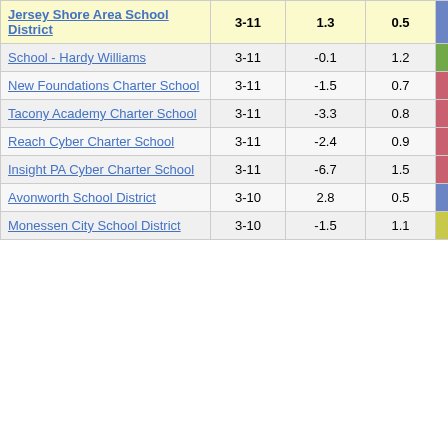| School/District | Grades | Col1 | Col2 | Score |
| --- | --- | --- | --- | --- |
| Jersey Shore Area School District | 3-11 | 1.3 | 0.5 | 2.69 |
| School - Hardy Williams | 3-11 | -0.1 | 1.2 | -0.05 |
| New Foundations Charter School | 3-11 | -1.5 | 0.7 | -2.10 |
| Tacony Academy Charter School | 3-11 | -3.3 | 0.8 | -4.26 |
| Reach Cyber Charter School | 3-11 | -2.4 | 0.9 | -2.71 |
| Insight PA Cyber Charter School | 3-11 | -6.7 | 1.5 | -4.37 |
| Avonworth School District | 3-10 | 2.8 | 0.5 | 5.25 |
| Monessen City School District | 3-10 | -1.5 | 1.1 | -1.40 |